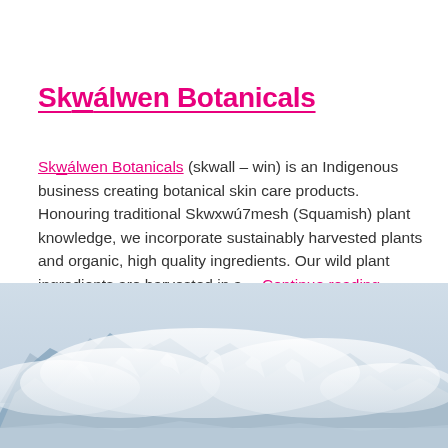Skwálwen Botanicals
Skwálwen Botanicals (skwall – win) is an Indigenous business creating botanical skin care products. Honouring traditional Skwxwú7mesh (Squamish) plant knowledge, we incorporate sustainably harvested plants and organic, high quality ingredients. Our wild plant ingredients are harvested in a… Continue reading »
[Figure (photo): Snowy mountain peaks with clouds, blue-grey toned landscape photograph]